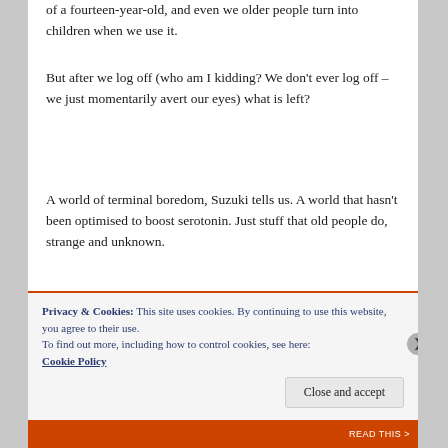of a fourteen-year-old, and even we older people turn into children when we use it.
But after we log off (who am I kidding? We don't ever log off – we just momentarily avert our eyes) what is left?
A world of terminal boredom, Suzuki tells us. A world that hasn't been optimised to boost serotonin. Just stuff that old people do, strange and unknown.
Terminal Boredom is radical writing of the old school. Prepare to be offended, and have your ideologies questioned. She is kicking at the door.
Privacy & Cookies: This site uses cookies. By continuing to use this website, you agree to their use.
To find out more, including how to control cookies, see here: Cookie Policy
Close and accept